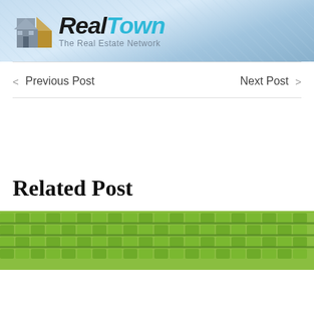[Figure (logo): RealTown - The Real Estate Network banner logo with house icon and blue gradient background]
< Previous Post
Next Post >
Related Post
[Figure (photo): Aerial view of rows of green theater or stadium seats]